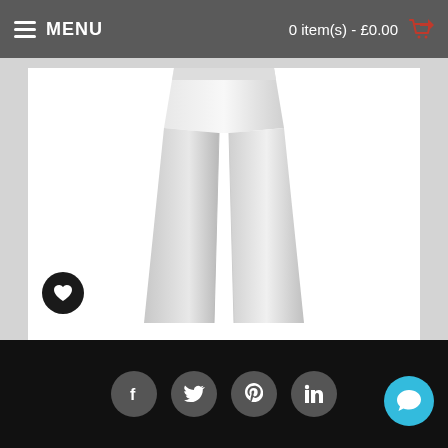MENU | 0 item(s) - £0.00
[Figure (photo): White judo suit/trousers displayed against white background, showing the lower portion of white martial arts pants]
Malino Adult Middleweight Judo Suit White - 450g
£44.99  £36.25
ADD TO CART
Social icons: Facebook, Twitter, Pinterest, LinkedIn